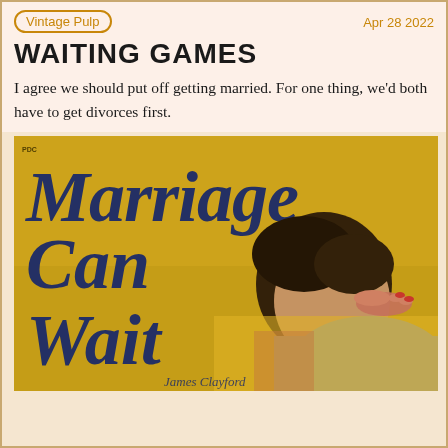Vintage Pulp
Apr 28 2022
WAITING GAMES
I agree we should put off getting married. For one thing, we'd both have to get divorces first.
[Figure (illustration): Vintage pulp fiction book cover for 'Marriage Can Wait' showing large blue serif text on a golden/yellow background with a man in a grey shirt bowing his head, with a woman's hand on his shoulder. Author name 'Clayford' visible at bottom.]